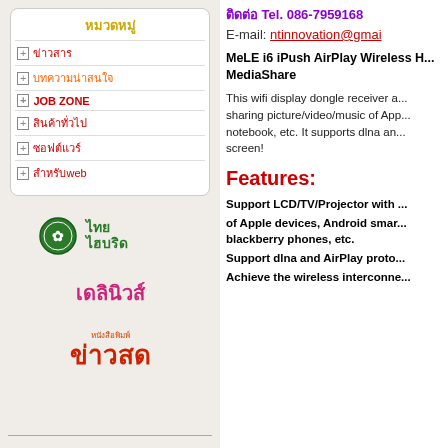ติดต่อ Tel. 086-7959168
E-mail: ntinnovation@gmail.com
หมวดหมู่
ข่าวสาร
บทความน่าสนใจ
JOB ZONE
สินค้าทั่วไป
ซอฟต์แวร์
สำหรับweb
[Figure (logo): ไทยไฮบริด logo - green circular emblem with Thai text]
[Figure (logo): เดลินิวส์ logo - pink/red Thai text newspaper logo]
[Figure (logo): ข่าวสด logo - red/orange Thai text newspaper logo]
MeLE i6 iPush AirPlay Wireless H... MediaShare
This wifi display dongle receiver a... sharing picture/video/music of App... notebook, etc. It supports dlna an... screen!
Features:
Support LCD/TV/Projector with ...
of Apple devices, Android smar... blackberry phones, etc.
Support dlna and AirPlay proto...
Achieve the wireless interconne...